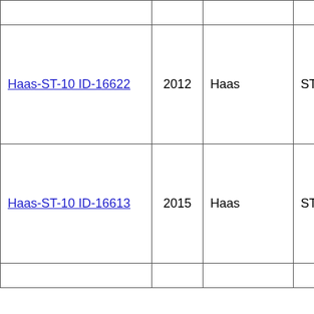|  |  |  |  |  |
| Haas-ST-10 ID-16622 | 2012 | Haas | ST-10 | Haas Control |
| Haas-ST-10 ID-16613 | 2015 | Haas | ST-10 | Haas Control |
|  |  |  |  |  |